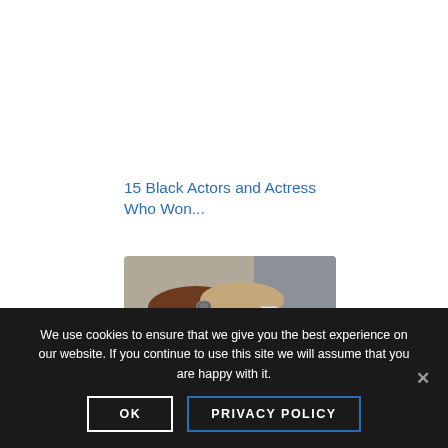15 Black Actors and Actress Who Won...
[Figure (photo): Close-up of two people's hands clasped together, one wearing a ring and the other wearing a watch with a brown band, with flowers and a blurred grey jacket in the background.]
We use cookies to ensure that we give you the best experience on our website. If you continue to use this site we will assume that you are happy with it.
OK
PRIVACY POLICY